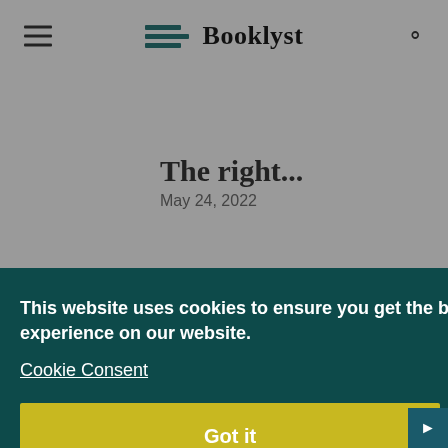Booklyst
The right...
May 24, 2022
12 Books Like The Song of
This website uses cookies to ensure you get the best experience on our website.
Cookie Consent
Got it